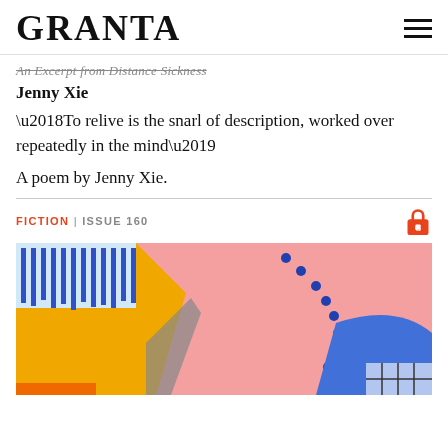GRANTA
An Excerpt from Distance Sickness
Jenny Xie
‘To relive is the snarl of description, worked over repeatedly in the mind’
A poem by Jenny Xie.
FICTION | ISSUE 160
[Figure (photo): Colorful abstract artwork with pink, yellow, blue and white painted shapes and dotted patterns]